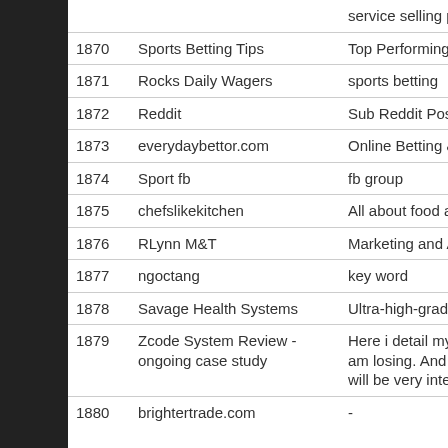| # | Name | Description |
| --- | --- | --- |
|  |  | service selling products high ti… |
| 1870 | Sports Betting Tips | Top Performing Automated Be… |
| 1871 | Rocks Daily Wagers | sports betting |
| 1872 | Reddit | Sub Reddit Post |
| 1873 | everydaybettor.com | Online Betting & Online Sports… |
| 1874 | Sport fb | fb group |
| 1875 | chefslikekitchen | All about food and kitchen |
| 1876 | RLynn M&T | Marketing and Advertising |
| 1877 | ngoctang | key word |
| 1878 | Savage Health Systems | Ultra-high-grade supplements, martial arts, self defense |
| 1879 | Zcode System Review - ongoing case study | Here i detail my ongoing exper… System. How much i am a win… am losing. And how much i am… all works. As a complete newb… will be very interesting to see w… |
| 1880 | brightertrade.com | - |